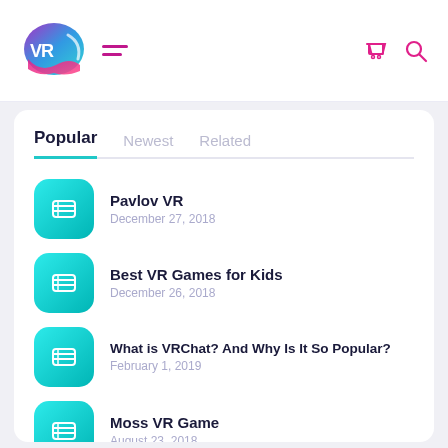[Figure (logo): VR branded logo with blue-teal and pink gradient, helmet-like shape with VR letters]
VR site navigation header with hamburger menu, cart icon, search icon
Popular  Newest  Related
Pavlov VR
December 27, 2018
Best VR Games for Kids
December 26, 2018
What is VRChat? And Why Is It So Popular?
February 1, 2019
Moss VR Game
August 23, 2018
What If You Could Smell in VR?
December 10, 2018